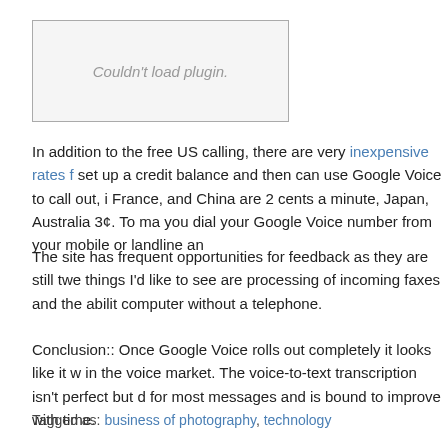[Figure (other): Plugin placeholder box with text 'Couldn't load plugin.']
In addition to the free US calling, there are very inexpensive rates f set up a credit balance and then can use Google Voice to call out, i France, and China are 2 cents a minute, Japan, Australia 3¢. To ma you dial your Google Voice number from your mobile or landline an
The site has frequent opportunities for feedback as they are still twe things I'd like to see are processing of incoming faxes and the abilit computer without a telephone.
Conclusion:: Once Google Voice rolls out completely it looks like it w in the voice market. The voice-to-text transcription isn't perfect but d for most messages and is bound to improve with time.
Tagged as: business of photography, technology